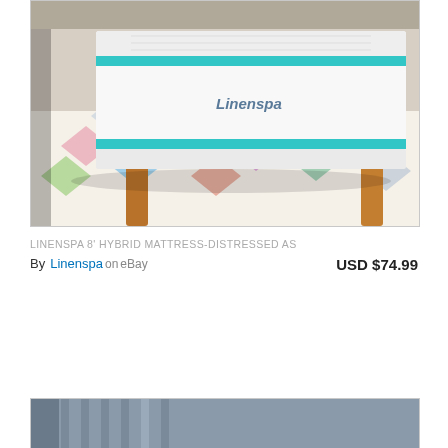[Figure (photo): Linenspa 8 inch hybrid mattress on a wooden bed frame with teal/aqua trim, over a colorful geometric patterned rug]
LINENSPA 8' HYBRID MATTRESS-DISTRESSED AS
By Linenspa on eBay  USD $74.99
[Figure (photo): Partial bottom product image showing a grey/blue surface, cropped at bottom of page]